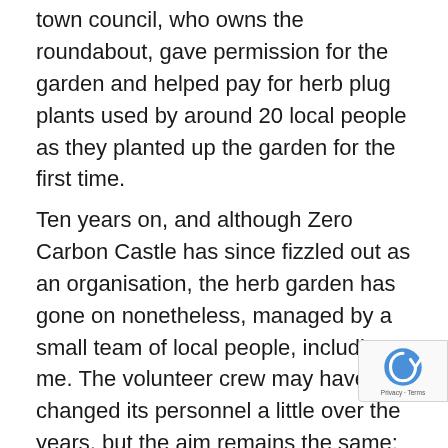town council, who owns the roundabout, gave permission for the garden and helped pay for herb plug plants used by around 20 local people as they planted up the garden for the first time.
Ten years on, and although Zero Carbon Castle has since fizzled out as an organisation, the herb garden has gone on nonetheless, managed by a small team of local people, including me. The volunteer crew may have changed its personnel a little over the years, but the aim remains the same: providing something beautiful for people to look at, providing locally grown herbs for the community and has been entirely self-funded for the past seven